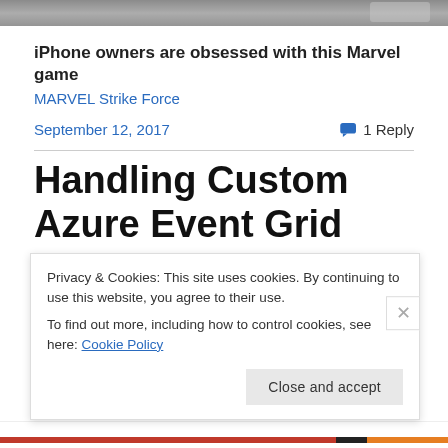[Figure (photo): Cropped top portion of an image, appears to be a game or advertisement banner]
iPhone owners are obsessed with this Marvel game
MARVEL Strike Force
September 12, 2017   💬 1 Reply
Handling Custom Azure Event Grid Events
Privacy & Cookies: This site uses cookies. By continuing to use this website, you agree to their use.
To find out more, including how to control cookies, see here: Cookie Policy
Close and accept